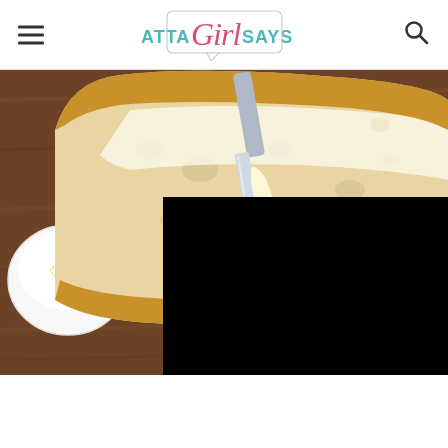AttaGirlSays - navigation header with hamburger menu and search icon
[Figure (photo): Photo of a slice of artisan sourdough bread being spread with butter using a knife, on a wooden cutting board, with a small white bowl of butter to the left. Lower right portion of image is covered by a black rectangle (redacted/ad area).]